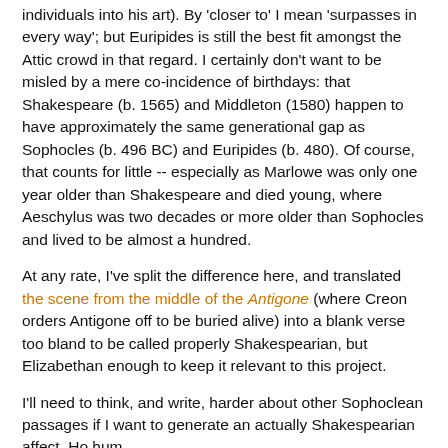individuals into his art). By 'closer to' I mean 'surpasses in every way'; but Euripides is still the best fit amongst the Attic crowd in that regard. I certainly don't want to be misled by a mere co-incidence of birthdays: that Shakespeare (b. 1565) and Middleton (1580) happen to have approximately the same generational gap as Sophocles (b. 496 BC) and Euripides (b. 480). Of course, that counts for little -- especially as Marlowe was only one year older than Shakespeare and died young, where Aeschylus was two decades or more older than Sophocles and lived to be almost a hundred.
At any rate, I've split the difference here, and translated the scene from the middle of the Antigone (where Creon orders Antigone off to be buried alive) into a blank verse too bland to be called properly Shakespearian, but Elizabethan enough to keep it relevant to this project.
I'll need to think, and write, harder about other Sophoclean passages if I want to generate an actually Shakespearian affect. Ho hum.